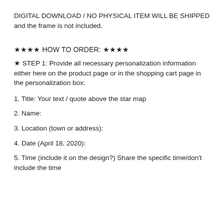DIGITAL DOWNLOAD / NO PHYSICAL ITEM WILL BE SHIPPED and the frame is not included.
★★★★ HOW TO ORDER: ★★★★
★ STEP 1: Provide all necessary personalization information either here on the product page or in the shopping cart page in the personalization box:
1. Title: Your text / quote above the star map
2. Name:
3. Location (town or address):
4. Date (April 18, 2020):
5. Time (include it on the design?) Share the specific time/don't include the time